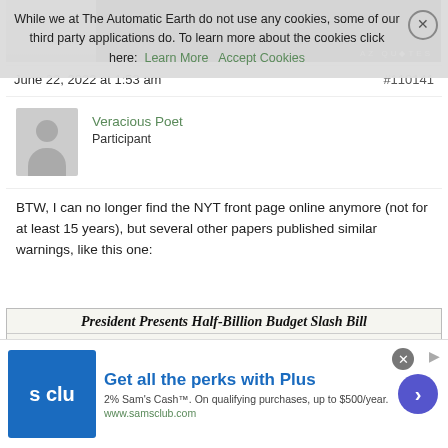[Figure (screenshot): Bottom portion of a quote image with a man's photo on the left and dark background with AZ QUOTES watermark]
June 22, 2022 at 1:53 am
#110141
[Figure (photo): Default user avatar silhouette in gray]
Veracious Poet
Participant
BTW, I can no longer find the NYT front page online anymore (not for at least 15 years), but several other papers published similar warnings, like this one:
[Figure (screenshot): Newspaper front page image showing headline: President Presents Half-Billion Budget Slash Bill, San Francisco Chronicle]
[Figure (screenshot): Advertisement: Get all the perks with Plus - Sam's Club. 2% Sam's Cash. On qualifying purchases, up to $500/year. www.samsclub.com]
While we at The Automatic Earth do not use any cookies, some of our third party applications do. To learn more about the cookies click here:
Learn More
Accept Cookies